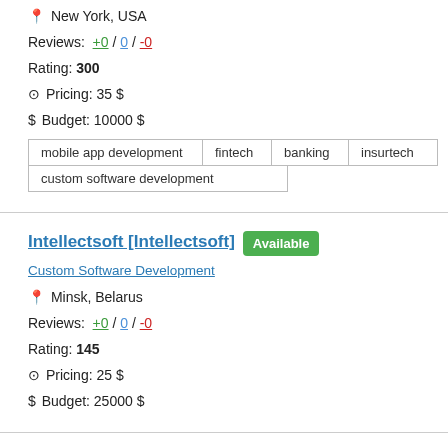📍 New York, USA
Reviews: +0 / 0 / -0
Rating: 300
⊙ Pricing: 35 $
$ Budget: 10000 $
mobile app development
fintech
banking
insurtech
custom software development
Intellectsoft [Intellectsoft] Available
Custom Software Development
📍 Minsk, Belarus
Reviews: +0 / 0 / -0
Rating: 145
⊙ Pricing: 25 $
$ Budget: 25000 $